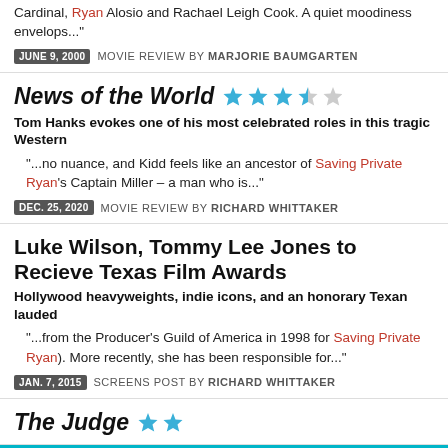Cardinal, Ryan Alosio and Rachael Leigh Cook. A quiet moodiness envelops..."
JUNE 9, 2000 MOVIE REVIEW BY MARJORIE BAUMGARTEN
News of the World ★★★½
Tom Hanks evokes one of his most celebrated roles in this tragic Western
"...no nuance, and Kidd feels like an ancestor of Saving Private Ryan's Captain Miller – a man who is..."
DEC. 25, 2020 MOVIE REVIEW BY RICHARD WHITTAKER
Luke Wilson, Tommy Lee Jones to Recieve Texas Film Awards
Hollywood heavyweights, indie icons, and an honorary Texan lauded
"...from the Producer's Guild of America in 1998 for Saving Private Ryan). More recently, she has been responsible for..."
JAN. 7, 2015 SCREENS POST BY RICHARD WHITTAKER
The Judge ★★
Information is power. Support the free press, so we can support Austin.
SUPPORT THE CHRONICLE →